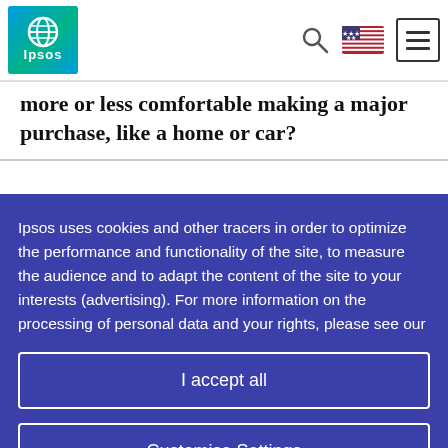Ipsos
more or less comfortable making a major purchase, like a home or car?
Ipsos uses cookies and other tracers in order to optimize the performance and functionality of the site, to measure the audience and to adapt the content of the site to your interests (advertising). For more information on the processing of personal data and your rights, please see our
I accept all
Customise Settings